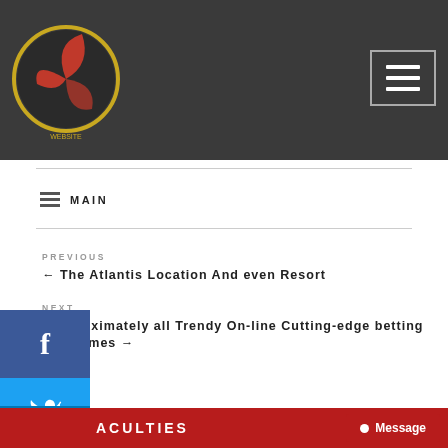[Figure (logo): Circular logo with red fan/leaf design on dark background with gold border, website logo]
MAIN
PREVIOUS
← The Atlantis Location And even Resort
NEXT
t approximately all Trendy On-line Cutting-edge betting house mes →
[Figure (illustration): Facebook social share button (blue background with f icon)]
[Figure (illustration): Twitter social share button (light blue background with bird/t icon)]
[Figure (illustration): LinkedIn social share button (dark blue background with in icon)]
ACULTIES
Message